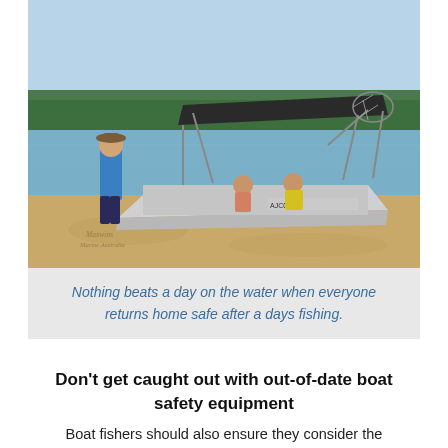[Figure (photo): A family on a fishing boat near a sandy beach shoreline. A woman in blue stands on the beach beside an aluminium boat with a bimini top canopy. Two people are seated in the boat, one wearing a yellow life jacket, one holding a fishing net. Calm water and tree-lined coast in background. Watermark reads 'Maxwins Marine Australia'.]
Nothing beats a day on the water when everyone returns home safe after a days fishing.
Don't get caught out with out-of-date boat safety equipment
Boat fishers should also ensure they consider the